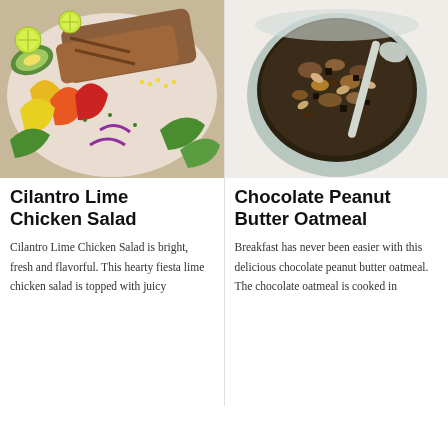[Figure (photo): Overhead photo of Cilantro Lime Chicken Salad with grilled chicken, colorful bell peppers, avocado, and lime slices on a white platter]
Cilantro Lime Chicken Salad
Cilantro Lime Chicken Salad is bright, fresh and flavorful. This hearty fiesta lime chicken salad is topped with juicy
CONTINUE READING
[Figure (photo): Overhead photo of Chocolate Peanut Butter Oatmeal served in a ceramic bowl with a spoon, topped with chocolate chips and nuts]
Chocolate Peanut Butter Oatmeal
Breakfast has never been easier with this delicious chocolate peanut butter oatmeal. The chocolate oatmeal is cooked in
CONTINUE READING